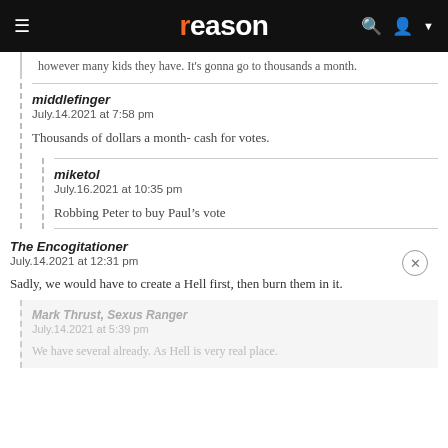reason
however many kids they have. It's gonna go to thousands a month.
middlefinger
July.14.2021 at 7:58 pm

Thousands of dollars a month- cash for votes.
miketol
July.16.2021 at 10:35 pm

Robbing Peter to buy Paul's vote
The Encogitationer
July.14.2021 at 12:31 pm

Sadly, we would have to create a Hell first, then burn them in it.
Mark Thrust, Sexus Ranger
July.14.2021 at 5:39 pm

We have several already. As Hell is very real place.